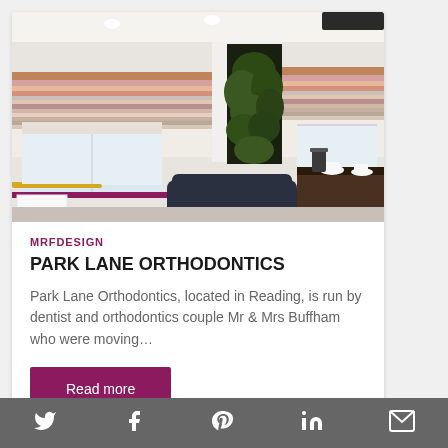[Figure (photo): Interior photo of Park Lane Orthodontics waiting room with striped wallpaper, a green plant wall, white blinds, dark seating chairs, and a black counter with cups.]
MRFDESIGN
PARK LANE ORTHODONTICS
Park Lane Orthodontics, located in Reading, is run by dentist and orthodontics couple Mr & Mrs Buffham who were moving…
Read more
Twitter Facebook Pinterest LinkedIn Email